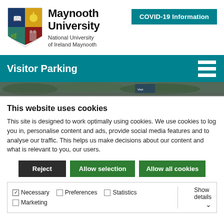[Figure (logo): Maynooth University shield logo with four quadrants: blue with open book top-left, yellow with candle/sundial top-right, teal with fern bottom-left, red with tower bottom-right. Accompanied by text 'Maynooth University, National University of Ireland Maynooth']
[Figure (other): COVID-19 Information button in teal/dark cyan color]
Visitor Parking
[Figure (photo): Strip photo of campus parking area with greenery and signage]
This website uses cookies
This site is designed to work optimally using cookies. We use cookies to log you in, personalise content and ads, provide social media features and to analyse our traffic. This helps us make decisions about our content and what is relevant to you, our users.
Reject | Allow selection | Allow all cookies
Necessary  Preferences  Statistics  Marketing  Show details